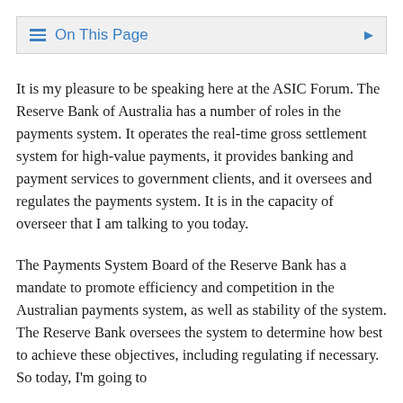On This Page
It is my pleasure to be speaking here at the ASIC Forum. The Reserve Bank of Australia has a number of roles in the payments system. It operates the real-time gross settlement system for high-value payments, it provides banking and payment services to government clients, and it oversees and regulates the payments system. It is in the capacity of overseer that I am talking to you today.
The Payments System Board of the Reserve Bank has a mandate to promote efficiency and competition in the Australian payments system, as well as stability of the system. The Reserve Bank oversees the system to determine how best to achieve these objectives, including regulating if necessary. So today, I'm going to